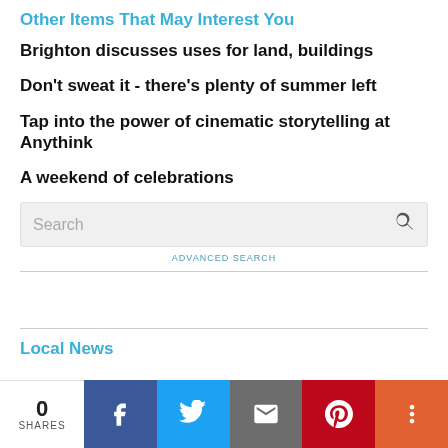Other Items That May Interest You
Brighton discusses uses for land, buildings
Don't sweat it - there's plenty of summer left
Tap into the power of cinematic storytelling at Anythink
A weekend of celebrations
Search
ADVANCED SEARCH
Local News
0 SHARES